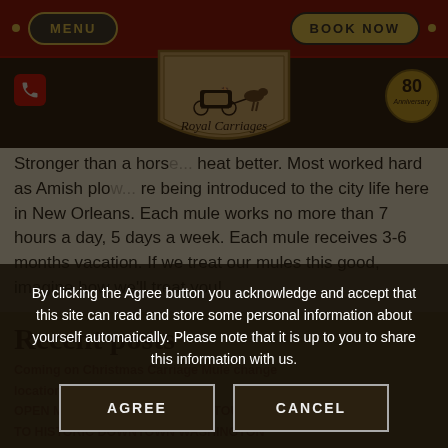MENU | BOOK NOW
[Figure (logo): Royal Carriages logo shield with horse-drawn carriage illustration]
Stronger than a horse... heat better. Most worked hard as Amish plo... re being introduced to the city life here in New Orleans. Each mule works no more than 7 hours a day, 5 days a week. Each mule receives 3-6 months vacation. If we treat our mules this good, imagine how we'll treat you!
Recent posts
By clicking the Agree button you acknowledge and accept that this site can read and store some personal information about yourself automatically. Please note that it is up to you to share this information with us.